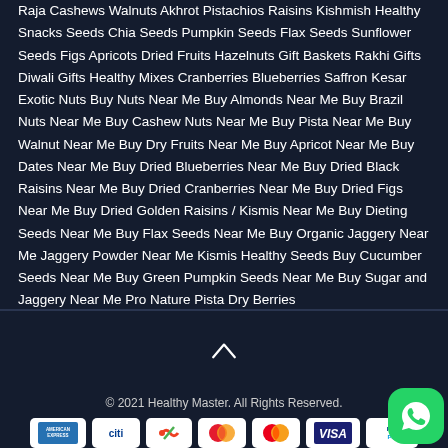Raja Cashews Walnuts Akhrot Pistachios Raisins Kishmish Healthy Snacks Seeds Chia Seeds Pumpkin Seeds Flax Seeds Sunflower Seeds Figs Apricots Dried Fruits Hazelnuts Gift Baskets Rakhi Gifts Diwali Gifts Healthy Mixes Cranberries Blueberries Saffron Kesar Exotic Nuts Buy Nuts Near Me Buy Almonds Near Me Buy Brazil Nuts Near Me Buy Cashew Nuts Near Me Buy Pista Near Me Buy Walnut Near Me Buy Dry Fruits Near Me Buy Apricot Near Me Buy Dates Near Me Buy Dried Blueberries Near Me Buy Dried Black Raisins Near Me Buy Dried Cranberries Near Me Buy Dried Figs Near Me Buy Dried Golden Raisins / Kismis Near Me Buy Dieting Seeds Near Me Buy Flax Seeds Near Me Buy Organic Jaggery Near Me Jaggery Powder Near Me Kismis Healthy Seeds Buy Cucumber Seeds Near Me Buy Green Pumpkin Seeds Near Me Buy Sugar and Jaggery Near Me Pro Nature Pista Dry Berries
© 2021 Healthy Master. All Rights Reserved.